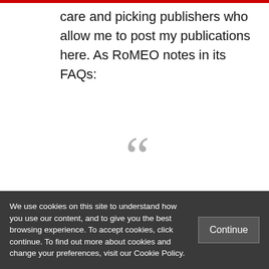care and picking publishers who allow me to post my publications here. As RoMEO notes in its FAQs:
[Figure (illustration): Large decorative open quotation mark in light gray, centered on page]
Evidence shows that
(partial quote text cut off at bottom)
We use cookies on this site to understand how you use our content, and to give you the best browsing experience. To accept cookies, click continue. To find out more about cookies and change your preferences, visit our Cookie Policy.